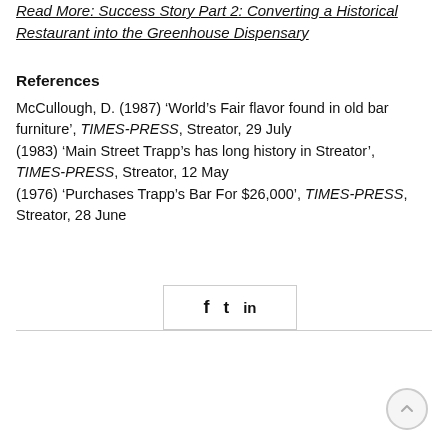Read More: Success Story Part 2: Converting a Historical Restaurant into the Greenhouse Dispensary
References
McCullough, D. (1987) ‘World’s Fair flavor found in old bar furniture’, TIMES-PRESS, Streator, 29 July (1983) ‘Main Street Trapp’s has long history in Streator’, TIMES-PRESS, Streator, 12 May (1976) ‘Purchases Trapp’s Bar For $26,000’, TIMES-PRESS, Streator, 28 June
[Figure (other): Social sharing icons: Facebook, Twitter, LinkedIn in a bordered box]